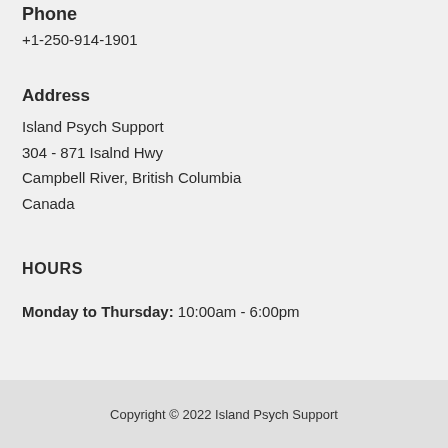Phone
+1-250-914-1901
Address
Island Psych Support
304 - 871 Isalnd Hwy
Campbell River, British Columbia
Canada
HOURS
Monday to Thursday: 10:00am - 6:00pm
Copyright © 2022 Island Psych Support